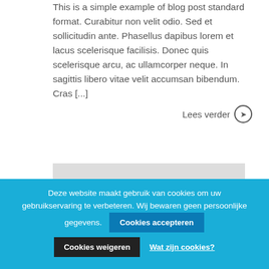This is a simple example of blog post standard format. Curabitur non velit odio. Sed et sollicitudin ante. Phasellus dapibus lorem et lacus scelerisque facilisis. Donec quis scelerisque arcu, ac ullamcorper neque. In sagittis libero vitae velit accumsan bibendum. Cras [...]
Lees verder ➡
[Figure (other): Grey rectangle placeholder image]
Deze website maakt gebruik van cookies om uw gebruikservaring te verbeteren. Wij bewaren geen persoonlijke gegevens. Cookies accepteren
Cookies weigeren
Wat zijn cookies?